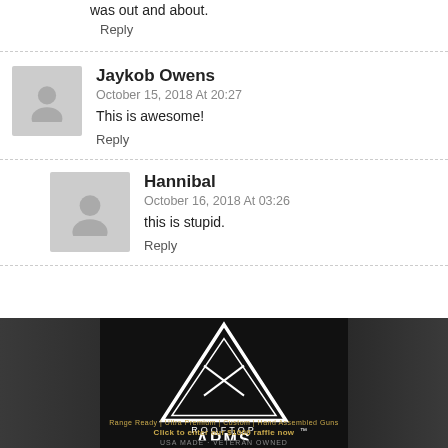was out and about.
Reply
Jaykob Owens
October 15, 2018 At 20:27
This is awesome!
Reply
Hannibal
October 16, 2018 At 03:26
this is stupid.
Reply
[Figure (photo): Rooftop Arms advertisement banner with guns and logo. Text: Range Ready | Ultra Premium | Custom | Hand Assembled Guns. Click to enter our $1000 raffle now. USA MADE · VETERAN OWNED.]